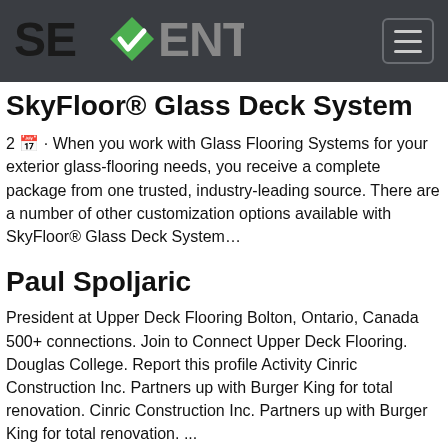SEVENTRUST
SkyFloor® Glass Deck System
2 🗓 · When you work with Glass Flooring Systems for your exterior glass-flooring needs, you receive a complete package from one trusted, industry-leading source. There are a number of other customization options available with SkyFloor® Glass Deck System…
Paul Spoljaric
President at Upper Deck Flooring Bolton, Ontario, Canada 500+ connections. Join to Connect Upper Deck Flooring. Douglas College. Report this profile Activity Cinric Construction Inc. Partners up with Burger King for total renovation. Cinric Construction Inc. Partners up with Burger King for total renovation. ...